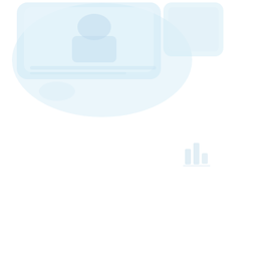[Figure (illustration): A very faint, washed-out illustration in light blue/white tones occupying the upper-left area of the page. Shows what appears to be a figure or character in a rounded rectangular frame, surrounded by a soft cloud-like or bubble shape. There is also a faint bar-chart-like icon in the upper-right quadrant area.]